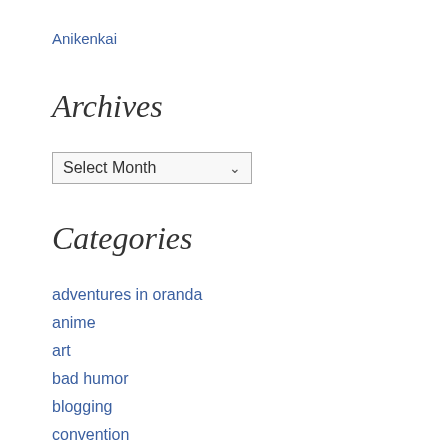Anikenkai
Archives
Select Month
Categories
adventures in oranda
anime
art
bad humor
blogging
convention
doujin event
eureka seven